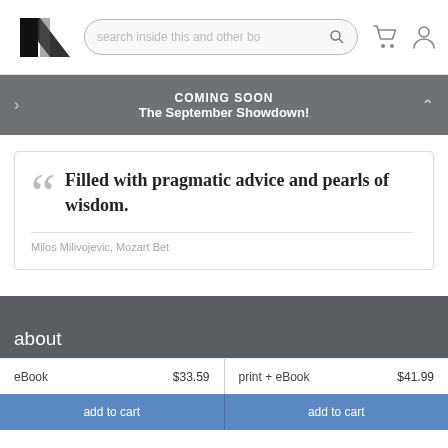[Figure (logo): Stylized M logo in black and dark gray on white background]
search inside this and other bo
[Figure (infographic): Shopping cart icon and user/account icon in gray]
COMING SOON
The September Showdown!
Filled with pragmatic advice and pearls of wisdom.
Milos Milivojevic, Mozart Bet
about
eBook    $33.59    print + eBook    $41.99
add to cart    add to cart